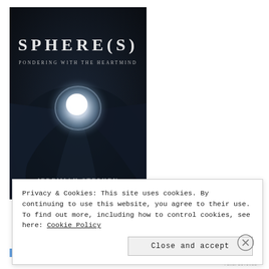[Figure (illustration): Book cover of 'SPHERE(S): Pondering with the Heartmind' by Jeremiah Stephen. Dark background with a glowing sphere/orb of light in the center surrounded by dark fabric-like folds. Title 'SPHERE(S)' in large white serif text at top, subtitle 'PONDERING WITH THE HEARTMIND' below it in smaller white text. Author name 'JEREMIAH STEPHEN' at the bottom in white text.]
Privacy & Cookies: This site uses cookies. By continuing to use this website, you agree to their use.
To find out more, including how to control cookies, see here: Cookie Policy
Close and accept